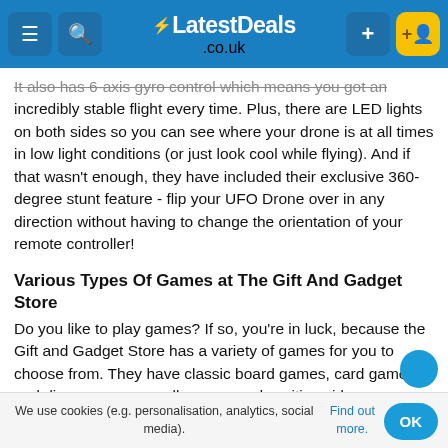LatestDeals.co.uk
It also has 6-axis gyro control which means you get an incredibly stable flight every time. Plus, there are LED lights on both sides so you can see where your drone is at all times in low light conditions (or just look cool while flying). And if that wasn't enough, they have included their exclusive 360-degree stunt feature - flip your UFO Drone over in any direction without having to change the orientation of your remote controller!
Various Types Of Games at The Gift And Gadget Store
Do you like to play games? If so, you're in luck, because the Gift and Gadget Store has a variety of games for you to choose from. They have classic board games, card games, and dice games, as well as new and exciting video games. No matter what your interests are, they are sure to have something amazing for you. So come on down to the store today
We use cookies (e.g. personalisation, analytics, social media). Find out more.